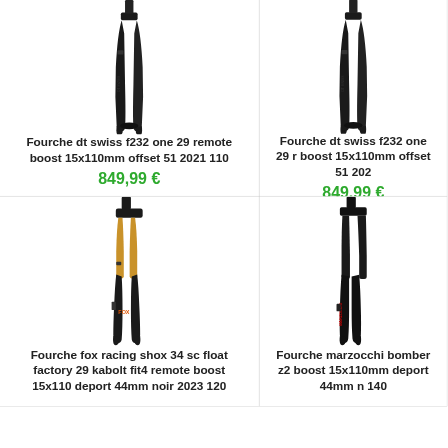[Figure (photo): Black carbon mountain bike fork - DT Swiss F232 One 29 (top left)]
Fourche dt swiss f232 one 29 remote boost 15x110mm offset 51 2021 110
849,99 €
[Figure (photo): Black carbon mountain bike fork - DT Swiss F232 One 29 (top right, partially visible)]
Fourche dt swiss f232 one 29 r boost 15x110mm offset 51 202
849,99 €
[Figure (photo): Fox Racing Shox 34 SC Float Factory fork with gold stanchions]
Fourche fox racing shox 34 sc float factory 29 kabolt fit4 remote boost 15x110 deport 44mm noir 2023 120
[Figure (photo): Marzocchi Bomber Z2 mountain bike fork (partially visible)]
Fourche marzocchi bomber z2 boost 15x110mm deport 44mm n 140